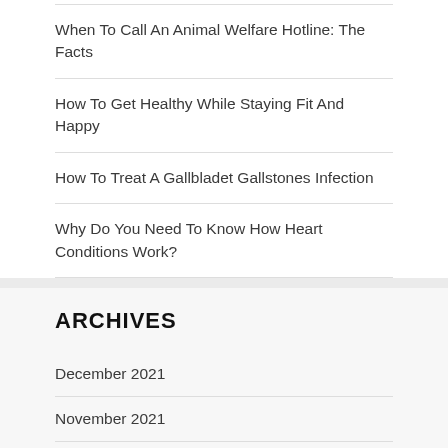When To Call An Animal Welfare Hotline: The Facts
How To Get Healthy While Staying Fit And Happy
How To Treat A Gallbladet Gallstones Infection
Why Do You Need To Know How Heart Conditions Work?
ARCHIVES
December 2021
November 2021
October 2021